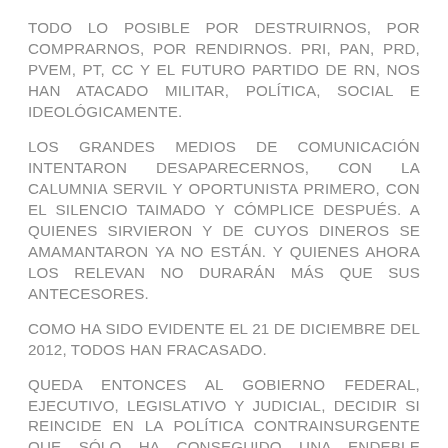TODO LO POSIBLE POR DESTRUIRNOS, POR COMPRARNOS, POR RENDIRNOS. PRI, PAN, PRD, PVEM, PT, CC Y EL FUTURO PARTIDO DE RN, NOS HAN ATACADO MILITAR, POLÍTICA, SOCIAL E IDEOLÓGICAMENTE.
LOS GRANDES MEDIOS DE COMUNICACIÓN INTENTARON DESAPARECERNOS, CON LA CALUMNIA SERVIL Y OPORTUNISTA PRIMERO, CON EL SILENCIO TAIMADO Y CÓMPLICE DESPUÉS. A QUIENES SIRVIERON Y DE CUYOS DINEROS SE AMAMANTARON YA NO ESTÁN. Y QUIENES AHORA LOS RELEVAN NO DURARÁN MÁS QUE SUS ANTECESORES.
COMO HA SIDO EVIDENTE EL 21 DE DICIEMBRE DEL 2012, TODOS HAN FRACASADO.
QUEDA ENTONCES AL GOBIERNO FEDERAL, EJECUTIVO, LEGISLATIVO Y JUDICIAL, DECIDIR SI REINCIDE EN LA POLÍTICA CONTRAINSURGENTE QUE SÓLO HA CONSEGUIDO UNA ENDEBLE SIMULACIÓN TORPEMENTE SUSTENTADA EN EL MANEJO